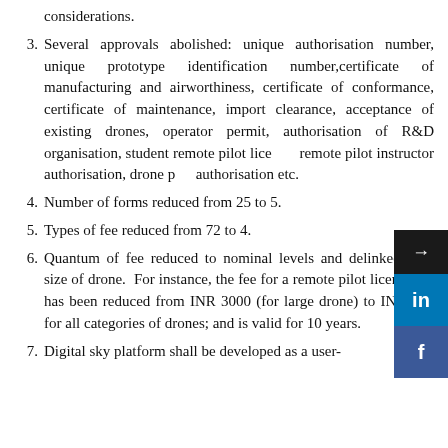considerations.
Several approvals abolished: unique authorisation number, unique prototype identification number,certificate of manufacturing and airworthiness, certificate of conformance, certificate of maintenance, import clearance, acceptance of existing drones, operator permit, authorisation of R&D organisation, student remote pilot licence, remote pilot instructor authorisation, drone port authorisation etc.
Number of forms reduced from 25 to 5.
Types of fee reduced from 72 to 4.
Quantum of fee reduced to nominal levels and delinked with size of drone.  For instance, the fee for a remote pilot license fee has been reduced from INR 3000 (for large drone) to INR 100 for all categories of drones; and is valid for 10 years.
Digital sky platform shall be developed as a user-